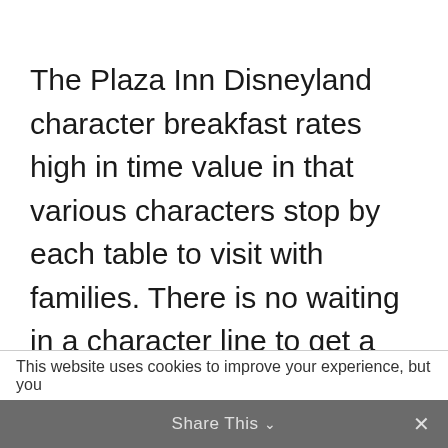The Plaza Inn Disneyland character breakfast rates high in time value in that various characters stop by each table to visit with families. There is no waiting in a character line to get a picture or autograph, and often guests experience unusual character sightings there such as Cinderella's Fairy Godmother, Eeyore, or Pinocchio.
This website uses cookies to improve your experience, but you
Share This ∨  ✕